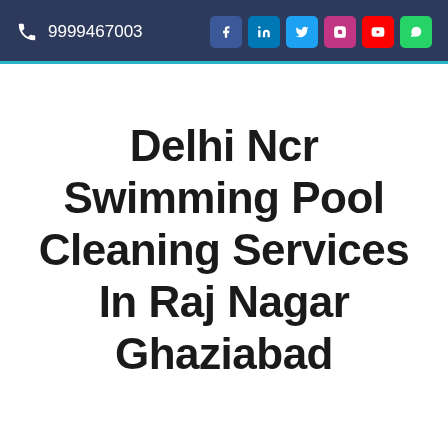9999467003
Delhi Ncr Swimming Pool Cleaning Services In Raj Nagar Ghaziabad